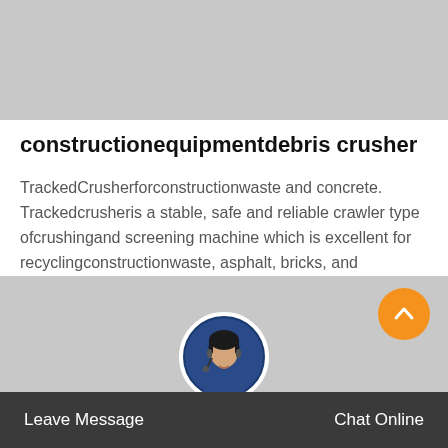[Figure (photo): Gray placeholder image at top of page]
constructionequipmentdebris crusher
TrackedCrusherforconstructionwaste and concrete. Trackedcrusheris a stable, safe and reliable crawler type ofcrushingand screening machine which is excellent for recyclingconstructionwaste, asphalt, bricks, and concrete, and…
[Figure (other): Orange Get Price button]
[Figure (photo): Gray section at bottom with customer service representative avatar and chat toolbar with Leave Message and Chat Online buttons]